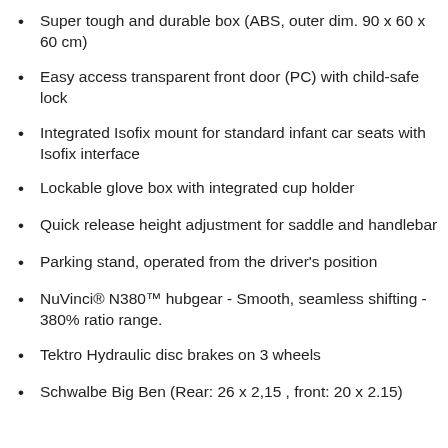Super tough and durable box (ABS, outer dim. 90 x 60 x 60 cm)
Easy access transparent front door (PC) with child-safe lock
Integrated Isofix mount for standard infant car seats with Isofix interface
Lockable glove box with integrated cup holder
Quick release height adjustment for saddle and handlebar
Parking stand, operated from the driver's position
NuVinci® N380™ hubgear - Smooth, seamless shifting - 380% ratio range.
Tektro Hydraulic disc brakes on 3 wheels
Schwalbe Big Ben (Rear: 26 x 2,15 , front: 20 x 2.15)